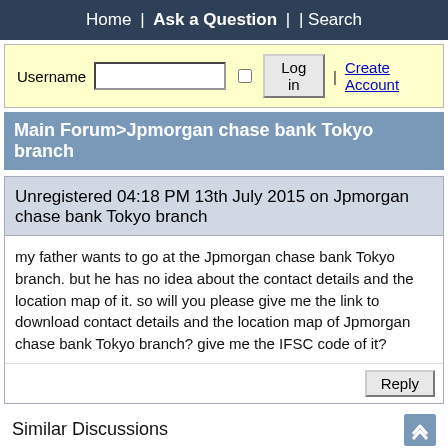Home | Ask a Question | | Search
Username  [input]  [checkbox]  Log in | Create Account
Main Forum>Jpmorgan chase bank Tokyo branch
Unregistered 04:18 PM 13th July 2015 on Jpmorgan chase bank Tokyo branch
my father wants to go at the Jpmorgan chase bank Tokyo branch. but he has no idea about the contact details and the location map of it. so will you please give me the link to download contact details and the location map of Jpmorgan chase bank Tokyo branch? give me the IFSC code of it?
Similar Discussions
Jpmorgan Chase Bank Locations in TN
Jpmorgan Chase Bank Mortgage
Jpmorgan Chase Bank NA Executives
Jpmorgan Chase Bank Tax ID Number
Jpmorgan Chase Bank Reviews
Jpmorgan Chase Bank Portland OR